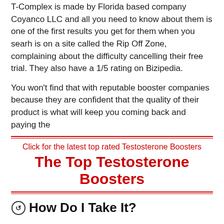T-Complex is made by Florida based company Coyanco LLC and all you need to know about them is one of the first results you get for them when you searh is on a site called the Rip Off Zone, complaining about the difficulty cancelling their free trial. They also have a 1/5 rating on Bizipedia.
You won't find that with reputable booster companies because they are confident that the quality of their product is what will keep you coming back and paying the
Click for the latest top rated Testosterone Boosters
The Top Testosterone Boosters
How Do I Take It?